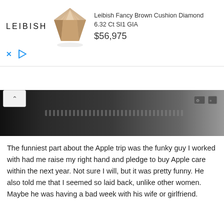[Figure (advertisement): Leibish jewelry advertisement. Shows LEIBISH logo on left, a cushion-cut fancy brown diamond in center, and product details on right: 'Leibish Fancy Brown Cushion Diamond 6.32 Ct SI1 GIA' with price '$56,975'. Ad controls (X and play button) at bottom left.]
[Figure (photo): Partial photo of what appears to be a dark electronic device or box, possibly a laptop or tablet packaging, with some text visible on a label and small icons in corner. Photo is cropped, showing only the top portion with a scroll-up chevron button overlay.]
The funniest part about the Apple trip was the funky guy I worked with had me raise my right hand and pledge to buy Apple care within the next year. Not sure I will, but it was pretty funny. He also told me that I seemed so laid back, unlike other women. Maybe he was having a bad week with his wife or girlfriend.
Once home, I made myself lunch--a whole wheat tortilla shell with provolone cheese, tofu, spinach, and tomatoes. I also had some strawberries and watermelon juice on the side.
[Figure (photo): Partial photo at bottom of page showing what appears to be a bowl or plate with food — possibly the tortilla wrap with ingredients mentioned in the text — on a light blue/grey surface. Only the top part of the image is visible.]